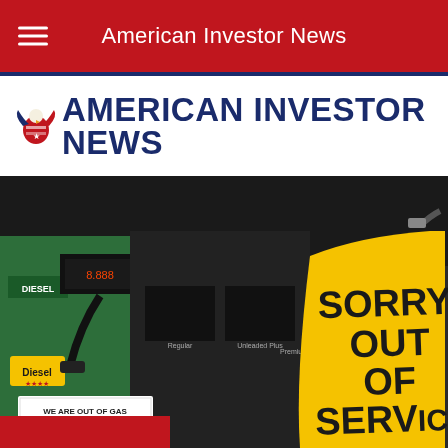American Investor News
[Figure (logo): American Investor News logo with eagle icon and bold navy text]
[Figure (photo): Gas station pump with yellow 'SORRY OUT OF SERVICE' bag over nozzle and white sign reading 'WE ARE OUT OF GAS SORRY FOR THE INCONVENIENCE'. Green diesel pump visible on left with 'DIESEL' label.]